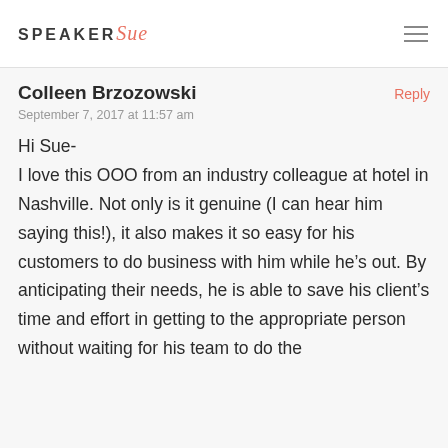SPEAKER Sue
Colleen Brzozowski
September 7, 2017 at 11:57 am
Hi Sue-
I love this OOO from an industry colleague at hotel in Nashville. Not only is it genuine (I can hear him saying this!), it also makes it so easy for his customers to do business with him while he's out. By anticipating their needs, he is able to save his client's time and effort in getting to the appropriate person without waiting for his team to do the